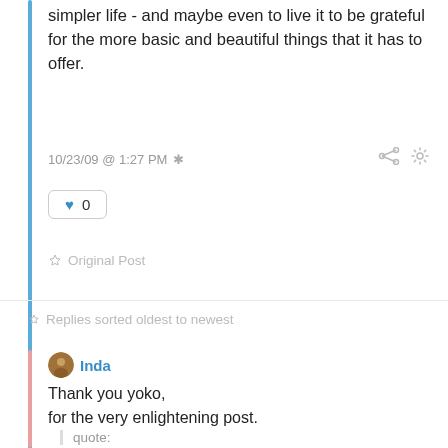simpler life - and maybe even to live it to be grateful for the more basic and beautiful things that it has to offer.
10/23/09 @ 1:27 PM *
0
Original Post
Replies sorted oldest to newest
Inda
Thank you yoko,
for the very enlightening post.
quote: